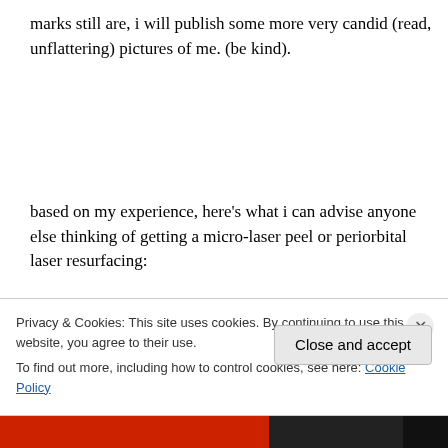marks still are,  i will publish some more very candid (read, unflattering) pictures of me. (be kind).
based on my experience, here’s what i can advise anyone else thinking of getting a micro-laser peel or periorbital laser resurfacing:
1. be absolutely certain you know what you’re letting yourself in for.
Privacy & Cookies: This site uses cookies. By continuing to use this website, you agree to their use.
To find out more, including how to control cookies, see here: Cookie Policy